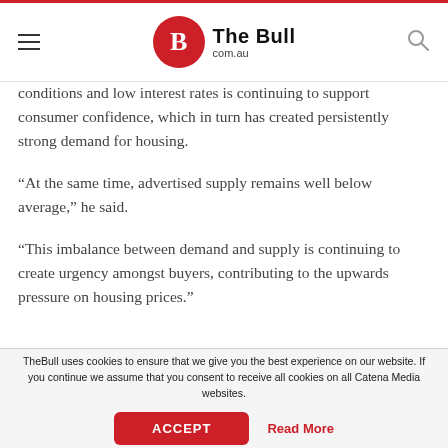The Bull com.au
conditions and low interest rates is continuing to support consumer confidence, which in turn has created persistently strong demand for housing.
“At the same time, advertised supply remains well below average,” he said.
“This imbalance between demand and supply is continuing to create urgency amongst buyers, contributing to the upwards pressure on housing prices.”
TheBull uses cookies to ensure that we give you the best experience on our website. If you continue we assume that you consent to receive all cookies on all Catena Media websites.